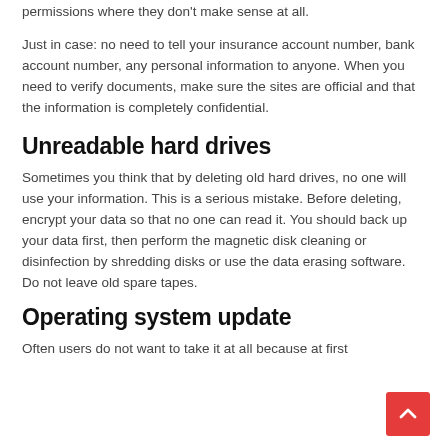permissions where they don't make sense at all.
Just in case: no need to tell your insurance account number, bank account number, any personal information to anyone. When you need to verify documents, make sure the sites are official and that the information is completely confidential.
Unreadable hard drives
Sometimes you think that by deleting old hard drives, no one will use your information. This is a serious mistake. Before deleting, encrypt your data so that no one can read it. You should back up your data first, then perform the magnetic disk cleaning or disinfection by shredding disks or use the data erasing software. Do not leave old spare tapes.
Operating system update
Often users do not want to take it at all because at first